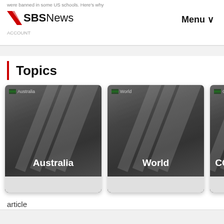were banned in some US schools. Here's why | SBS News | Menu
Topics
[Figure (screenshot): Three topic category cards: Australia, World, COVID-19 on a dark gradient background with decorative swoosh pattern]
article